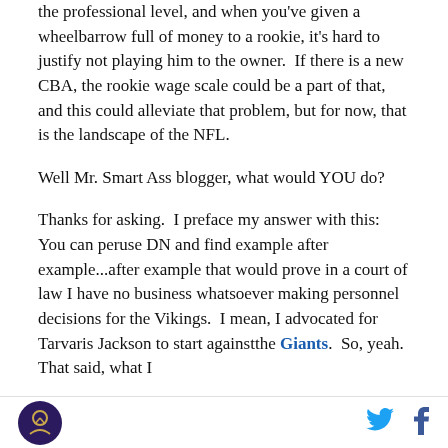the professional level, and when you've given a wheelbarrow full of money to a rookie, it's hard to justify not playing him to the owner.  If there is a new CBA, the rookie wage scale could be a part of that, and this could alleviate that problem, but for now, that is the landscape of the NFL.
Well Mr. Smart Ass blogger, what would YOU do?
Thanks for asking.  I preface my answer with this:  You can peruse DN and find example after example...after example that would prove in a court of law I have no business whatsoever making personnel decisions for the Vikings.  I mean, I advocated for Tarvaris Jackson to start againstthe Giants.  So, yeah.  That said, what I
[logo] [twitter] [facebook]